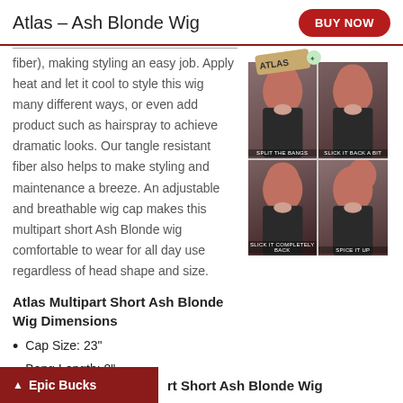Atlas - Ash Blonde Wig
fiber), making styling an easy job. Apply heat and let it cool to style this wig many different ways, or even add product such as hairspray to achieve dramatic looks. Our tangle resistant fiber also helps to make styling and maintenance a breeze. An adjustable and breathable wig cap makes this multipart short Ash Blonde wig comfortable to wear for all day use regardless of head shape and size.
[Figure (photo): Four-panel photo grid of the Atlas wig in ash blonde/red color shown in four styling options: Split the Bangs, Slick it Back a Bit, Slick it Completely Back, Spice it Up. Decorative Atlas badge at top.]
Atlas Multipart Short Ash Blonde Wig Dimensions
Cap Size: 23"
Bang Length: 8"
Skintop: 5" across, 4.5" back
Epic Bucks
rt Short Ash Blonde Wig